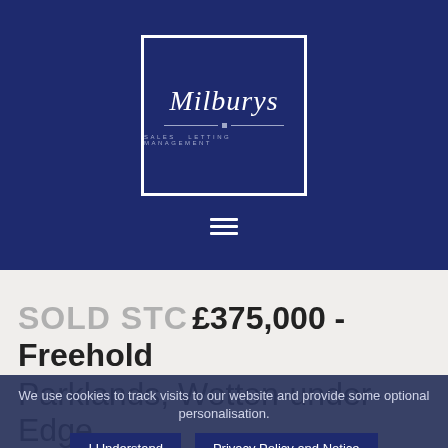[Figure (logo): Milburys estate agency logo — white italic serif text 'Milburys' with decorative line and small square, subtitle 'SALES LETTING MANAGEMENT', all on dark navy background inside a white-bordered box]
[Figure (other): Hamburger menu icon — three horizontal white lines on dark navy background]
SOLD STC £375,000 - Freehold Parklands, Wotton-under-Edge,
We use cookies to track visits to our website and provide some optional personalisation.
I Understand
Privacy Policy and Notice